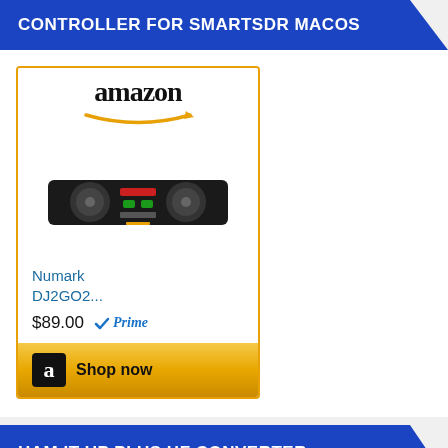CONTROLLER FOR SMARTSDR MACOS
[Figure (screenshot): Amazon product card for Numark DJ2GO2... priced at $89.00 with Prime badge and Shop now button]
HAM IT UP PLUS HF CONVERTER
[Figure (screenshot): Amazon product card for Ham It Up Plus HF Converter, partially visible at bottom]